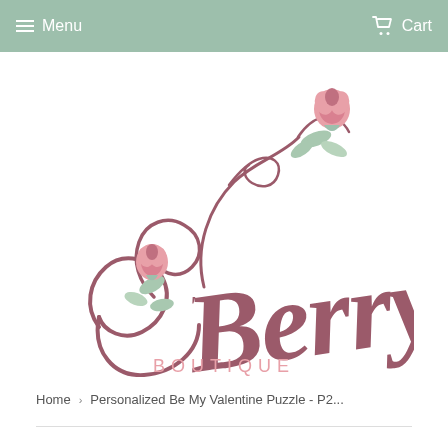Menu  Cart
[Figure (logo): S'Berry Boutique logo — stylized cursive script 'S'Berry' in mauve/dark rose with decorative swirls and two illustrated pink roses with mint green leaves. 'BOUTIQUE' in spaced pink sans-serif capitals below.]
Home › Personalized Be My Valentine Puzzle - P2...